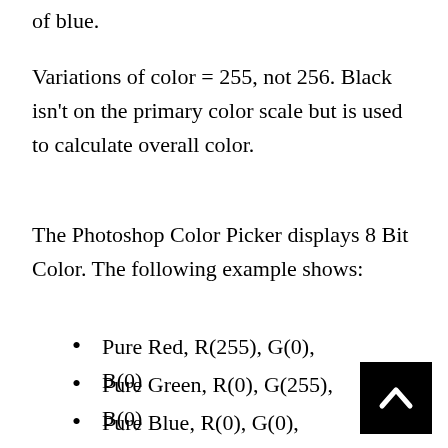of blue.
Variations of color = 255, not 256. Black isn't on the primary color scale but is used to calculate overall color.
The Photoshop Color Picker displays 8 Bit Color. The following example shows:
Pure Red, R(255), G(0), B(0)
Pure Green, R(0), G(255), B(0)
Pure Blue, R(0), G(0), B(255)